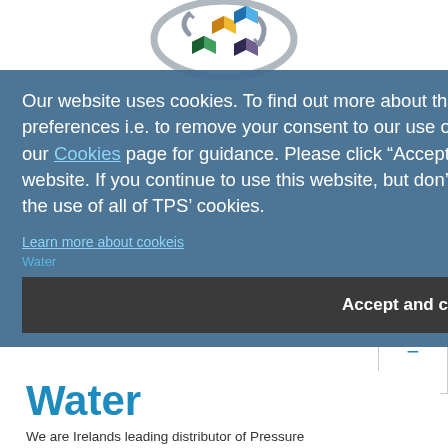[Figure (illustration): 3D colorful interlocking cubes/arrows logo in silver, orange, blue, green, purple tones, centered at top of page]
Our website uses cookies. To find out more about the cookies we use, or to change your cookie preferences i.e. to remove your consent to our use of certain categories of cookies, please visit our Cookies page for guidance. Please click “Accept and close” to accept the use of cookies on our website. If you continue to use this website, but don’t click “Accept and close”, you are consenting to the use of all of TPS’ cookies.
Learn more about cookeis
Water
Accept and close
Water
We are Irelands leading distributor of Pressure